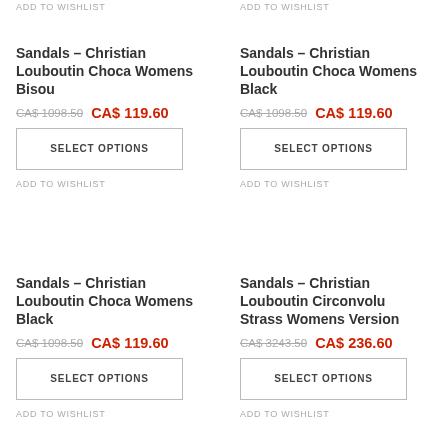ADD TO WISHLIST
ADD TO WISHLIST
Sandals – Christian Louboutin Choca Womens Bisou
CA$ 1098.50  CA$ 119.60
SELECT OPTIONS
ADD TO WISHLIST
Sandals – Christian Louboutin Choca Womens Black
CA$ 1098.50  CA$ 119.60
SELECT OPTIONS
ADD TO WISHLIST
Sandals – Christian Louboutin Choca Womens Black
CA$ 1098.50  CA$ 119.60
SELECT OPTIONS
ADD TO WISHLIST
Sandals – Christian Louboutin Circonvolu Strass Womens Version
CA$ 3243.50  CA$ 236.60
SELECT OPTIONS
ADD TO WISHLIST